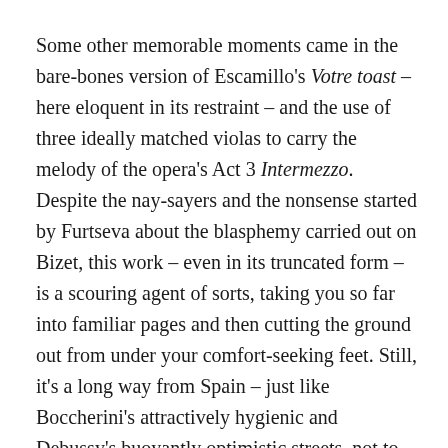Some other memorable moments came in the bare-bones version of Escamillo's Votre toast – here eloquent in its restraint – and the use of three ideally matched violas to carry the melody of the opera's Act 3 Intermezzo. Despite the nay-sayers and the nonsense started by Furtseva about the blasphemy carried out on Bizet, this work – even in its truncated form – is a scouring agent of sorts, taking you so far into familiar pages and then cutting the ground out from under your comfort-seeking feet. Still, it's a long way from Spain – just like Boccherini's attractively hygienic and Debussy's buoyantly optimistic streets, not to mention Ravel's sophisticated foray into le jazz hot.